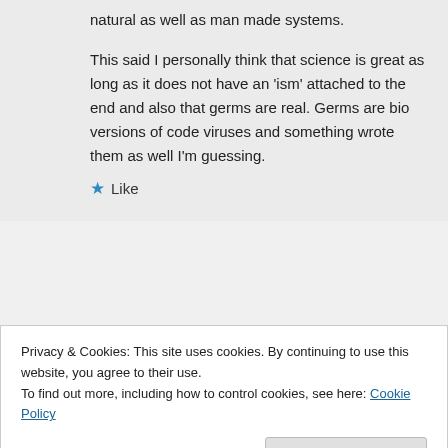natural as well as man made systems.
This said I personally think that science is great as long as it does not have an 'ism' attached to the end and also that germs are real. Germs are bio versions of code viruses and something wrote them as well I'm guessing.
★ Like
Privacy & Cookies: This site uses cookies. By continuing to use this website, you agree to their use.
To find out more, including how to control cookies, see here: Cookie Policy
Close and accept
Elsie on July 4, 2013 at 3:03 pm